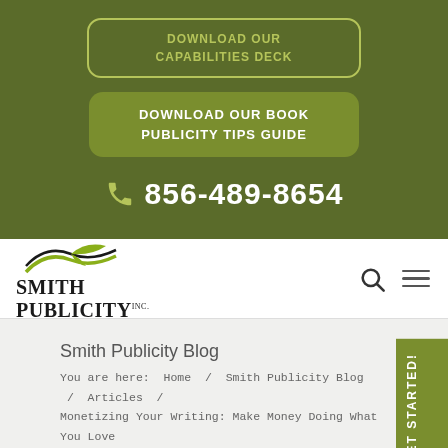[Figure (screenshot): Green banner with two download buttons and phone number for Smith Publicity]
DOWNLOAD OUR CAPABILITIES DECK
DOWNLOAD OUR BOOK PUBLICITY TIPS GUIDE
856-489-8654
[Figure (logo): Smith Publicity Inc. logo with stylized bird/book icon]
Smith Publicity Blog
You are here: Home / Smith Publicity Blog / Articles / Monetizing Your Writing: Make Money Doing What You Love
Monetizing Your Writing: Make...